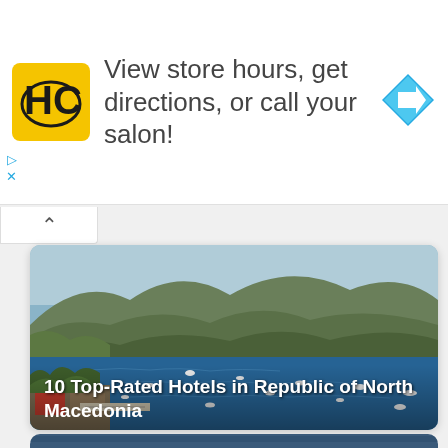[Figure (infographic): Advertisement banner with HC Hair Cuttery yellow logo, text 'View store hours, get directions, or call your salon!' and blue diamond navigation arrow icon]
View store hours, get directions, or call your salon!
[Figure (photo): Aerial view of Lake Ohrid in North Macedonia showing blue water with boats, green hillside with villages, and a waterfront dining area in the foreground]
10 Top-Rated Hotels in Republic of North Macedonia
[Figure (photo): Partial bottom image strip showing the beginning of another photo]